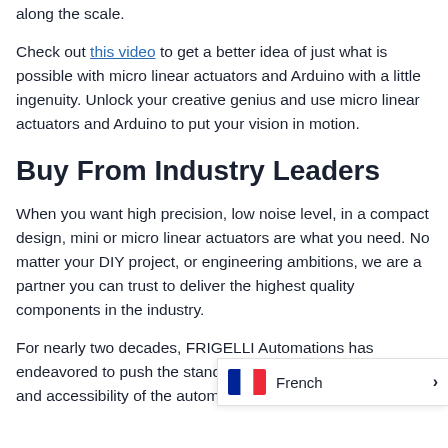along the scale.
Check out this video to get a better idea of just what is possible with micro linear actuators and Arduino with a little ingenuity. Unlock your creative genius and use micro linear actuators and Arduino to put your vision in motion.
Buy From Industry Leaders
When you want high precision, low noise level, in a compact design, mini or micro linear actuators are what you need. No matter your DIY project, or engineering ambitions, we are a partner you can trust to deliver the highest quality components in the industry.
For nearly two decades, FRIGELLI Automations has endeavored to push the standards of quality, affordability, and accessibility of the automation ind[...] actuators to fit every purpose and conti[...]